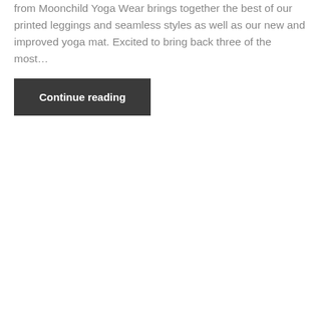from Moonchild Yoga Wear brings together the best of our printed leggings and seamless styles as well as our new and improved yoga mat. Excited to bring back three of the most…
Continue reading